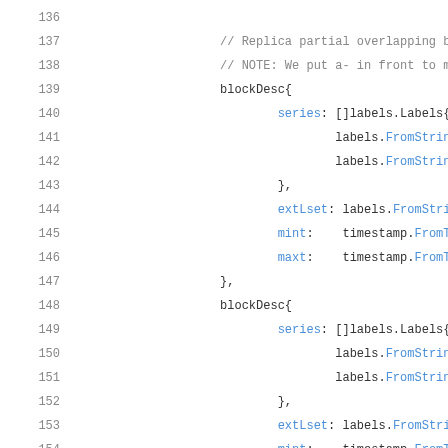Source code listing, lines 136-157, showing Go blockDesc struct initialization with series, extLset, mint, maxt fields